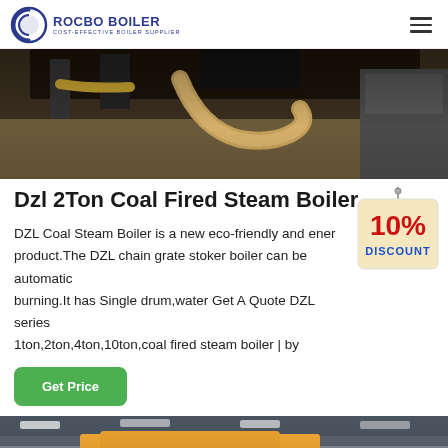[Figure (logo): Rocbo Boiler logo with circular icon and company name]
[Figure (photo): Industrial boiler machinery close-up, dark tones with metal hoses]
Dzl 2Ton Coal Fired Steam Boiler
[Figure (other): 10% discount badge graphic hanging sign]
DZL Coal Steam Boiler is a new eco-friendly and energy product.The DZL chain grate stoker boiler can be automatic burning.It has Single drum,water Get A Quote DZL series 1ton,2ton,4ton,10ton,coal fired steam boiler | by
[Figure (other): Get Price button - green rounded rectangle]
[Figure (photo): Industrial facility interior with yellow pipes and ceiling lights]